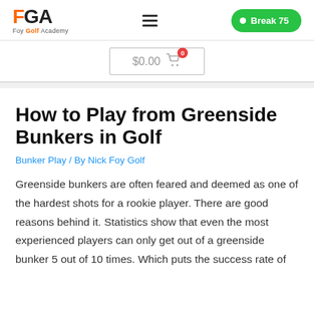FGA Foy Golf Academy — Break 75
[Figure (logo): FGA Foy Golf Academy logo with orange F and black GA letters]
$0.00 cart with 0 items badge
How to Play from Greenside Bunkers in Golf
Bunker Play / By Nick Foy Golf
Greenside bunkers are often feared and deemed as one of the hardest shots for a rookie player. There are good reasons behind it. Statistics show that even the most experienced players can only get out of a greenside bunker 5 out of 10 times. Which puts the success rate of